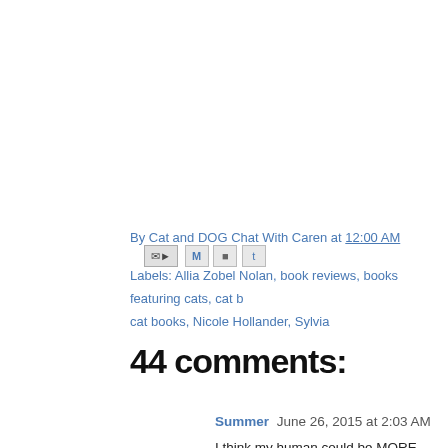By Cat and DOG Chat With Caren at 12:00 AM [icons]
Labels: Allia Zobel Nolan, book reviews, books featuring cats, cat b... cat books, Nicole Hollander, Sylvia
44 comments:
Summer June 26, 2015 at 2:03 AM
I think my human could be MORE obsessive! Maybe h
Reply
[Figure (photo): Small avatar thumbnail image for Meezer's Mews & Terrieristical Woofs commenter]
Meezer's Mews & Terrieristical Woofs June 26, 2...
What a fun book!!